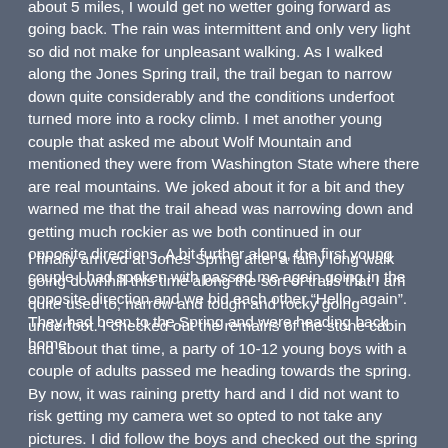about 5 miles, I would get no wetter going forward as going back. The rain was intermittent and only very light so did not make for unpleasant walking. As I walked along the Jones Spring trail, the trail began to narrow down quite considerably and the conditions underfoot turned more into a rocky climb. I met another young couple that asked me about Wolf Mountain and mentioned they were from Washington State where there are real mountains. We joked about it for a bit and they warned me that the trail ahead was narrowing down and getting much rockier as we both continued in our opposite directions. A bit further along, the first young couple I had spoken with passed me again going in the opposite direction and we bid each other “Hello, again”. They had been to the Spring and were heading back home.
I finally arrived at Jones Spring after a fairly long walk going downhill this time along the sort of trails that I am quite used to, narrow and tough and rocky going underfoot. I checked out the remains of the stone cabin and about that time, a party of 10-12 young boys with a couple of adults passed me heading towards the spring. By now, it was raining pretty hard and I did not want to risk getting my camera wet so opted to not take any pictures. I did follow the boys and checked out the spring which is not majorly